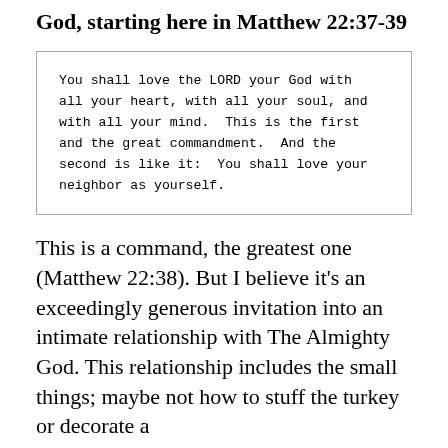God, starting here in Matthew 22:37-39
You shall love the LORD your God with all your heart, with all your soul, and with all your mind.  This is the first and the great commandment.  And the second is like it:  You shall love your neighbor as yourself.
This is a command, the greatest one (Matthew 22:38).  But I believe it’s an exceedingly generous invitation into an intimate relationship with The Almighty God.  This relationship includes the small things; maybe not how to stuff the turkey or decorate a